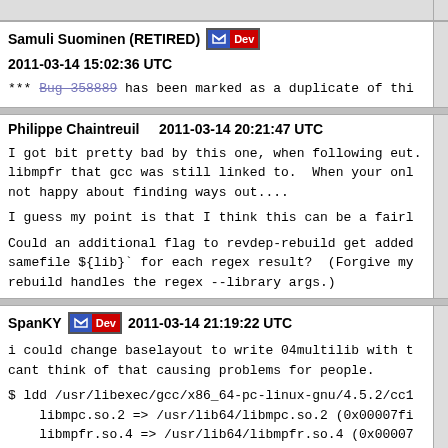Samuli Suominen (RETIRED) [Dev] 2011-03-14 15:02:36 UTC
*** Bug 358889 has been marked as a duplicate of thi
Philippe Chaintreuil    2011-03-14 20:21:47 UTC
I got bit pretty bad by this one, when following eut. libmpfr that gcc was still linked to.  When your onl not happy about finding ways out....

I guess my point is that I think this can be a fairl

Could an additional flag to revdep-rebuild get added samefile ${lib}` for each regex result?  (Forgive my rebuild handles the regex --library args.)
SpanKY [Dev] 2011-03-14 21:19:22 UTC
i could change baselayout to write 04multilib with t cant think of that causing problems for people.

$ ldd /usr/libexec/gcc/x86_64-pc-linux-gnu/4.5.2/cc1
	libmpc.so.2 => /usr/lib64/libmpc.so.2 (0x00007fi
	libmpfr.so.4 => /usr/lib64/libmpfr.so.4 (0x00007
	libgmp.so.10 => /usr/lib64/libgmp.so.10 (0x00000